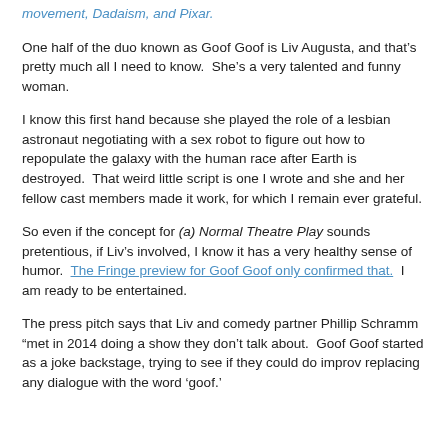movement, Dadaism, and Pixar.
One half of the duo known as Goof Goof is Liv Augusta, and that’s pretty much all I need to know.  She’s a very talented and funny woman.
I know this first hand because she played the role of a lesbian astronaut negotiating with a sex robot to figure out how to repopulate the galaxy with the human race after Earth is destroyed.  That weird little script is one I wrote and she and her fellow cast members made it work, for which I remain ever grateful.
So even if the concept for (a) Normal Theatre Play sounds pretentious, if Liv’s involved, I know it has a very healthy sense of humor.  The Fringe preview for Goof Goof only confirmed that.  I am ready to be entertained.
The press pitch says that Liv and comedy partner Phillip Schramm “met in 2014 doing a show they don’t talk about.  Goof Goof started as a joke backstage, trying to see if they could do improv replacing any dialogue with the word ‘goof.’